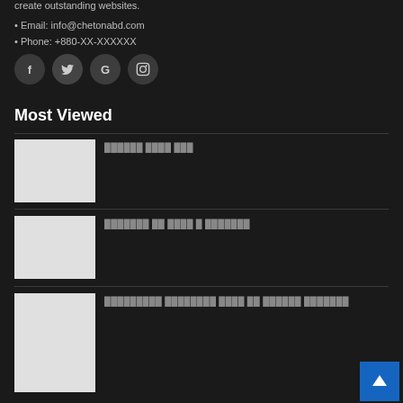create outstanding websites.
• Email: info@chetonabd.com
• Phone: +880-XX-XXXXXX
[Figure (illustration): Four social media icon buttons: Facebook (f), Twitter (bird/t), Google (G), Instagram (camera)]
Most Viewed
[Figure (photo): Thumbnail placeholder image (light gray rectangle)]
██████ ████ ███
[Figure (photo): Thumbnail placeholder image (light gray rectangle)]
███████ ██ ████ █ ███████
[Figure (photo): Thumbnail placeholder image (light gray rectangle)]
█████████ ████████ ████ ██ ██████ ███████